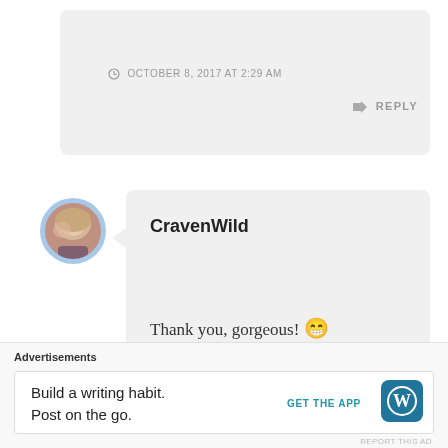OCTOBER 8, 2017 AT 2:29 AM
REPLY
CravenWild
Thank you, gorgeous! 😁
★ Liked by 1 person
OCTOBER 10, 2017 AT 8:10 AM
Advertisements
Build a writing habit. Post on the go.
GET THE APP